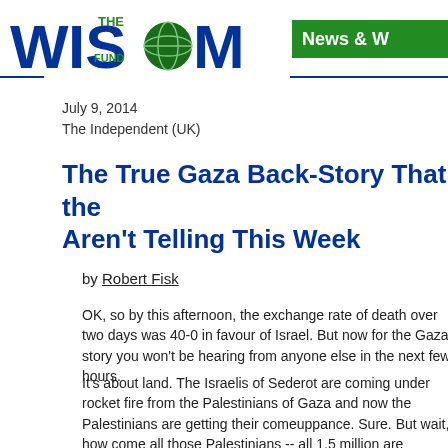THE WISDOM FUND — News & W
July 9, 2014
The Independent (UK)
The True Gaza Back-Story That the Aren't Telling This Week
by Robert Fisk
OK, so by this afternoon, the exchange rate of death over two days was 40-0 in favour of Israel. But now for the Gaza story you won't be hearing from anyone else in the next few hours.
It's about land. The Israelis of Sederot are coming under rocket fire from the Palestinians of Gaza and now the Palestinians are getting their comeuppance. Sure. But wait, how come all those Palestinians -- all 1.5 million are crammed into Gaza in the first place? Well, their families once lived, didn't they, in what is now called